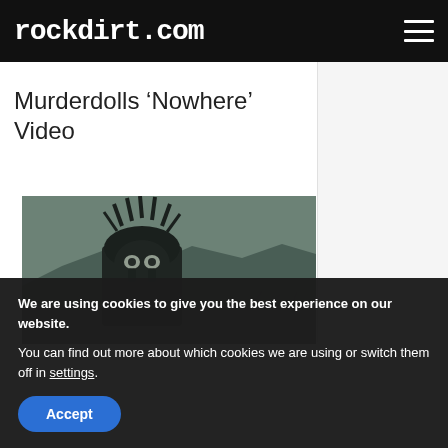rockdirt.com
Murderdolls ‘Nowhere’ Video
[Figure (photo): Dark, grungy photo of a figure with wild spiked black hair, heavy black face makeup, standing in an outdoor desert landscape with mountains in background. Desaturated teal/grey color tone.]
We are using cookies to give you the best experience on our website.
You can find out more about which cookies we are using or switch them off in settings.
Accept